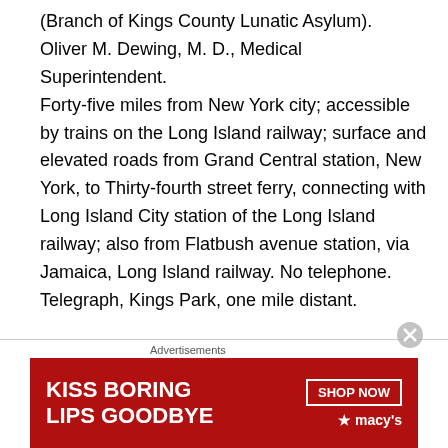(Branch of Kings County Lunatic Asylum). Oliver M. Dewing, M. D., Medical Superintendent. Forty-five miles from New York city; accessible by trains on the Long Island railway; surface and elevated roads from Grand Central station, New York, to Thirty-fourth street ferry, connecting with Long Island City station of the Long Island railway; also from Flatbush avenue station, via Jamaica, Long Island railway. No telephone. Telegraph, Kings Park, one mile distant.
LICENSED PRIVATE ASYLUM SYSTEM.
BLOOMINGDALE ASYLUM – One Hundred And Seventeenth Street, New York City. Between Amsterdam
[Figure (other): Advertisement banner: 'KISS BORING LIPS GOODBYE' with a woman's face/lips, SHOP NOW button, and Macy's logo on red background]